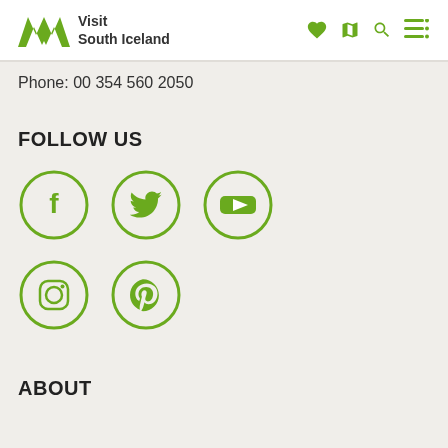Visit South Iceland
Phone: 00 354 560 2050
FOLLOW US
[Figure (infographic): Five social media icons in circles: Facebook, Twitter, YouTube, Instagram, Pinterest — all in olive green outlines]
ABOUT